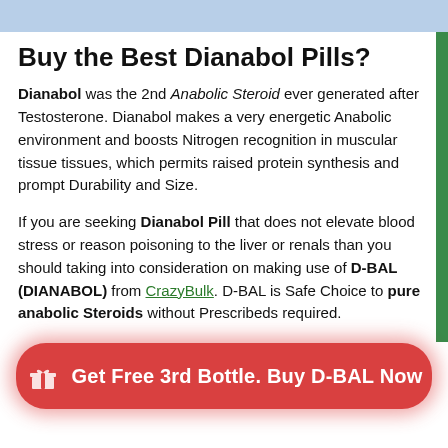[Figure (other): Light blue banner at the top of the page]
Buy the Best Dianabol Pills?
Dianabol was the 2nd Anabolic Steroid ever generated after Testosterone. Dianabol makes a very energetic Anabolic environment and boosts Nitrogen recognition in muscular tissue tissues, which permits raised protein synthesis and prompt Durability and Size.
If you are seeking Dianabol Pill that does not elevate blood stress or reason poisoning to the liver or renals than you should taking into consideration on making use of D-BAL (DIANABOL) from CrazyBulk. D-BAL is Safe Choice to pure anabolic Steroids without Prescribeds required.
[Figure (other): Red call-to-action button with gift icon: Get Free 3rd Bottle. Buy D-BAL Now]